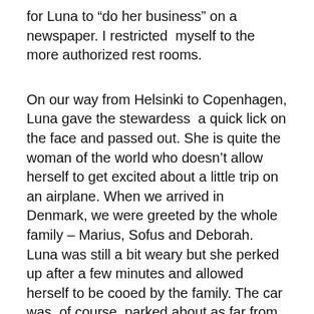for Luna to “do her business” on a newspaper. I restricted  myself to the more authorized rest rooms.
On our way from Helsinki to Copenhagen, Luna gave the stewardess  a quick lick on the face and passed out. She is quite the woman of the world who doesn’t allow herself to get excited about a little trip on an airplane. When we arrived in Denmark, we were greeted by the whole family – Marius, Sofus and Deborah.  Luna was still a bit weary but she perked up after a few minutes and allowed herself to be cooed by the family. The car was, of course, parked about as far from arrivals as possible, but Luna trotted along on her leash with Marius the whole way.